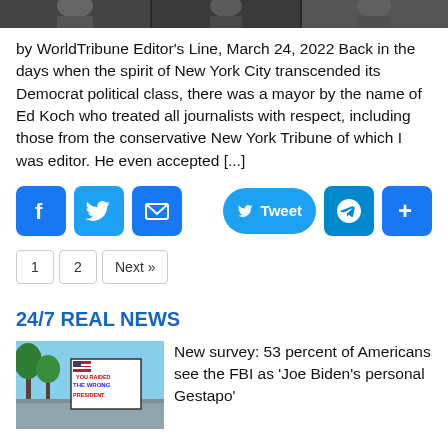[Figure (photo): Black and white photo strip at top of page, showing partial faces/figures]
by WorldTribune Editor's Line, March 24, 2022 Back in the days when the spirit of New York City transcended its Democrat political class, there was a mayor by the name of Ed Koch who treated all journalists with respect, including those from the conservative New York Tribune of which I was editor. He even accepted [...]
[Figure (infographic): Social share buttons: Facebook, Twitter, Email, Tweet, Telegram, and Share (+) buttons]
1
2
Next »
24/7 REAL NEWS
[Figure (photo): Protest photo showing sign reading 'YOU RAIDED THE WRONG PRESIDENT']
New survey: 53 percent of Americans see the FBI as 'Joe Biden's personal Gestapo'